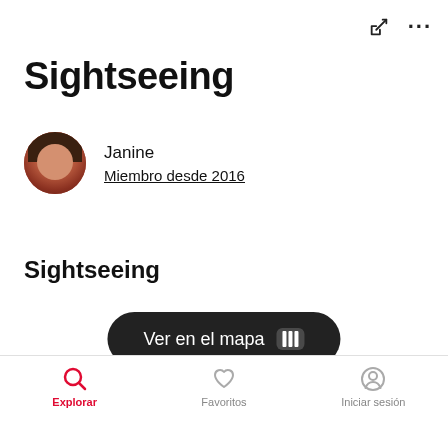Sightseeing
Janine
Miembro desde 2016
Sightseeing
Ver en el mapa
Explorar  Favoritos  Iniciar sesión